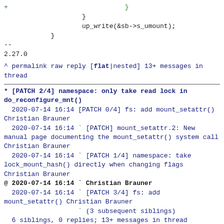+                              }
                    }
                    up_write(&sb->s_umount);
            }
--
2.27.0
^ permalink raw reply   [flat|nested] 13+ messages in thread
* [PATCH 2/4] namespace: only take read lock in do_reconfigure_mnt()
  2020-07-14 16:14 [PATCH 0/4] fs: add mount_setattr() Christian Brauner
  2020-07-14 16:14 ` [PATCH] mount_setattr.2: New manual page documenting the mount_setattr() system call Christian Brauner
  2020-07-14 16:14 ` [PATCH 1/4] namespace: take lock_mount_hash() directly when changing flags Christian Brauner
@ 2020-07-14 16:14 ` Christian Brauner
  2020-07-14 16:14 ` [PATCH 3/4] fs: add mount_setattr() Christian Brauner
                   ` (3 subsequent siblings)
  6 siblings, 0 replies; 13+ messages in thread
From: Christian Brauner @ 2020-07-14 16:14 UTC
(permalink / raw)
  To: David Howells, Al Viro, linux-fsdevel